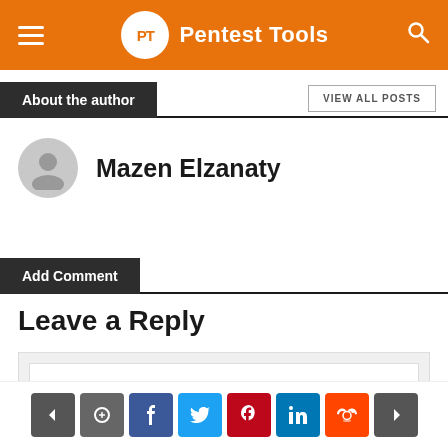PT Pentest Tools
About the author
VIEW ALL POSTS
Mazen Elzanaty
Add Comment
Leave a Reply
Enter your comment here...